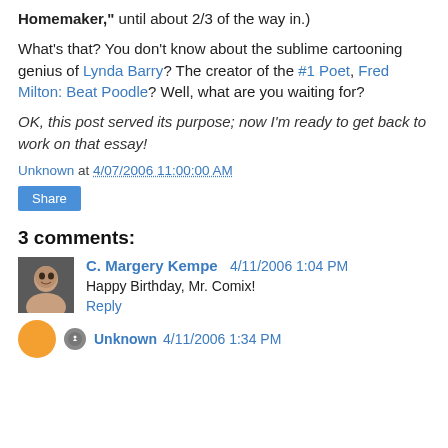Homemaker," until about 2/3 of the way in.)
What's that? You don't know about the sublime cartooning genius of Lynda Barry? The creator of the #1 Poet, Fred Milton: Beat Poodle? Well, what are you waiting for?
OK, this post served its purpose; now I'm ready to get back to work on that essay!
Unknown at 4/07/2006 11:00:00 AM
Share
3 comments:
C. Margery Kempe 4/11/2006 1:04 PM
Happy Birthday, Mr. Comix!
Reply
Unknown 4/11/2006 1:34 PM